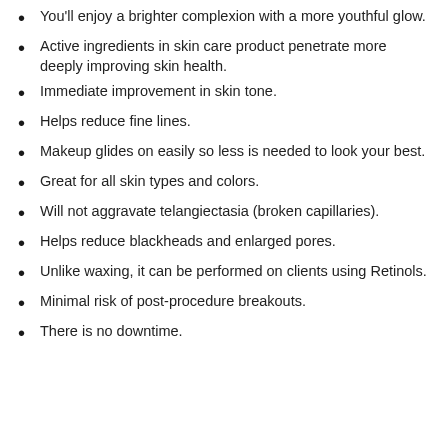You'll enjoy a brighter complexion with a more youthful glow.
Active ingredients in skin care product penetrate more deeply improving skin health.
Immediate improvement in skin tone.
Helps reduce fine lines.
Makeup glides on easily so less is needed to look your best.
Great for all skin types and colors.
Will not aggravate telangiectasia (broken capillaries).
Helps reduce blackheads and enlarged pores.
Unlike waxing, it can be performed on clients using Retinols.
Minimal risk of post-procedure breakouts.
There is no downtime.